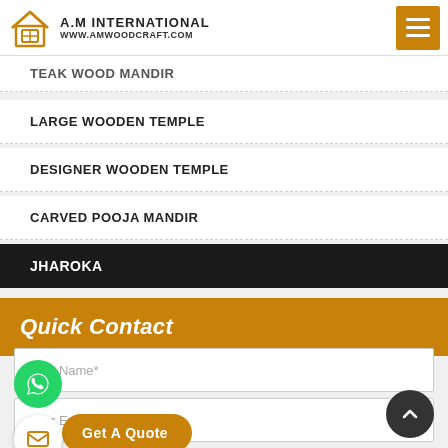A.M INTERNATIONAL | WWW.AMWOODCRAFT.COM
TEAK WOOD MANDIR (partially visible)
LARGE WOODEN TEMPLE
DESIGNER WOODEN TEMPLE
CARVED POOJA MANDIR
JHAROKA
Quick Contact
Your Name*
Your Email ID*
Get A Quote